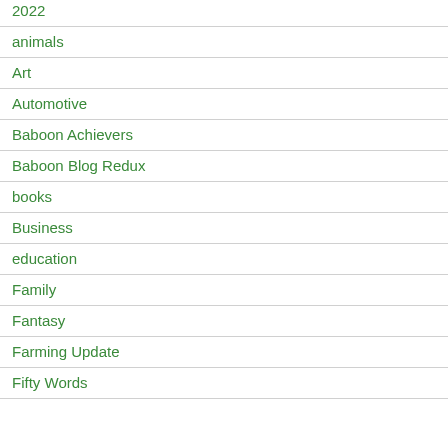2022
animals
Art
Automotive
Baboon Achievers
Baboon Blog Redux
books
Business
education
Family
Fantasy
Farming Update
Fifty Words